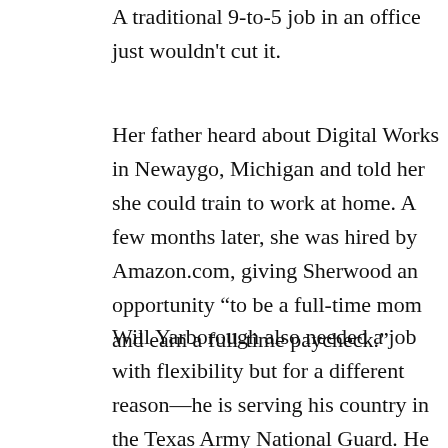A traditional 9-to-5 job in an office just wouldn't cut it.
Her father heard about Digital Works in Newaygo, Michigan and told her she could train to work at home. A few months later, she was hired by Amazon.com, giving Sherwood an opportunity “to be a full-time mom and earn a full-time paycheck.”
Will Yarborough also needed a job with flexibility but for a different reason—he is serving his country in the Texas Army National Guard. He trained at the Grants, New Mexico, SoloWorks facility, learning key customer service and computer skills and soon landed a job at ViaSource Solutions.